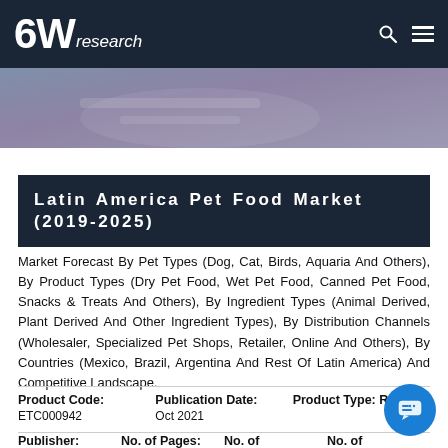6Wresearch
[Figure (photo): Banner image showing hands working, research context, with dark overlay]
Latin America Pet Food Market (2019-2025)
Market Forecast By Pet Types (Dog, Cat, Birds, Aquaria And Others), By Product Types (Dry Pet Food, Wet Pet Food, Canned Pet Food, Snacks & Treats And Others), By Ingredient Types (Animal Derived, Plant Derived And Other Ingredient Types), By Distribution Channels (Wholesaler, Specialized Pet Shops, Retailer, Online And Others), By Countries (Mexico, Brazil, Argentina And Rest Of Latin America) And Competitive Landscape.
| Product Code: | Publication Date: | Product Type: |
| --- | --- | --- |
| ETC000942 | Oct 2021 | Rep... |